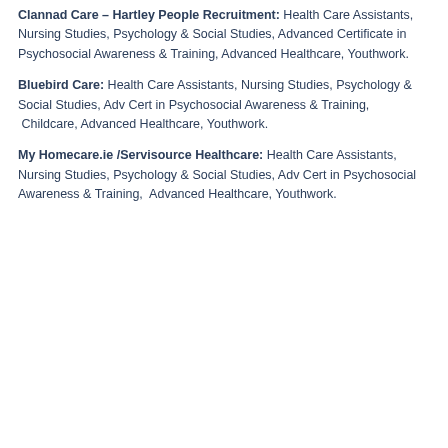Clannad Care – Hartley People Recruitment: Health Care Assistants, Nursing Studies, Psychology & Social Studies, Advanced Certificate in Psychosocial Awareness & Training, Advanced Healthcare, Youthwork.
Bluebird Care: Health Care Assistants, Nursing Studies, Psychology & Social Studies, Adv Cert in Psychosocial Awareness & Training, Childcare, Advanced Healthcare, Youthwork.
My Homecare.ie /Servisource Healthcare: Health Care Assistants, Nursing Studies, Psychology & Social Studies, Adv Cert in Psychosocial Awareness & Training, Advanced Healthcare, Youthwork.